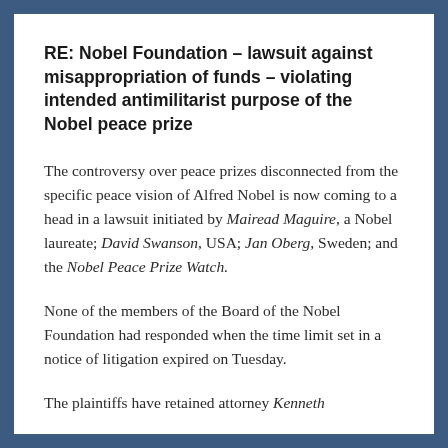RE: Nobel Foundation – lawsuit against misappropriation of funds – violating intended antimilitarist purpose of the Nobel peace prize
The controversy over peace prizes disconnected from the specific peace vision of Alfred Nobel is now coming to a head in a lawsuit initiated by Mairead Maguire, a Nobel laureate; David Swanson, USA; Jan Oberg, Sweden; and the Nobel Peace Prize Watch.
None of the members of the Board of the Nobel Foundation had responded when the time limit set in a notice of litigation expired on Tuesday.
The plaintiffs have retained attorney Kenneth